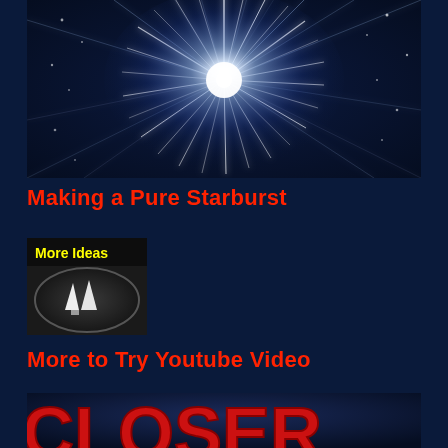[Figure (photo): Bright starburst light explosion with radiating white and blue streaks on a dark blue/black background]
Making a Pure Starburst
[Figure (photo): Small thumbnail showing 'More Ideas' label in yellow text over an image of white crystalline shapes in a dark dish]
More to Try Youtube Video
[Figure (photo): Bottom image showing large red bold text partially visible, appearing to spell 'CLOSER' or similar, on a dark blue background]